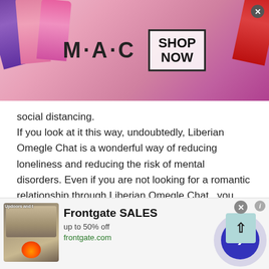[Figure (photo): MAC cosmetics advertisement banner showing lipsticks in purple, pink, and red colors with MAC logo and SHOP NOW button]
social distancing.
If you look at it this way, undoubtedly, Liberian Omegle Chat is a wonderful way of reducing loneliness and reducing the risk of mental disorders. Even if you are not looking for a romantic relationship through Liberian Omegle Chat , you can speak with a stranger for a few minutes and lift the emotional weight off of your chest.
Stranger cam chats are an excellent way of reaching out for emotional support and coping with your emotions in
[Figure (screenshot): Frontgate SALES advertisement banner showing outdoor furniture with fire pit, text: Frontgate SALES, up to 50% off, frontgate.com]